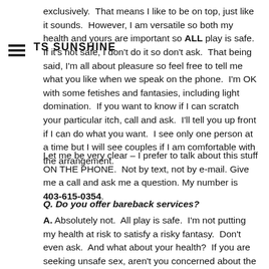TS SUNSHINE
exclusively.  That means I like to be on top, just like it sounds.  However, I am versatile so both my health and yours are important so ALL play is safe.  If it's not safe, I don't do it so don't ask.  That being said, I'm all about pleasure so feel free to tell me what you like when we speak on the phone.  I'm OK with some fetishes and fantasies, including light domination.  If you want to know if I can scratch your particular itch, call and ask.  I'll tell you up front if I can do what you want.  I see only one person at a time but I will see couples if I am comfortable with the arrangement.
Let me be very clear – I prefer to talk about this stuff ON THE PHONE.  Not by text, not by e-mail. Give me a call and ask me a question. My number is 403-615-0354.
Q. Do you offer bareback services?
A. Absolutely not.  All play is safe.  I'm not putting my health at risk to satisfy a risky fantasy.  Don't even ask.  And what about your health?  If you are seeking unsafe sex, aren't you concerned about the risks?  You should be! If an escort offers bareback services, you should ask yourself if it is worth the